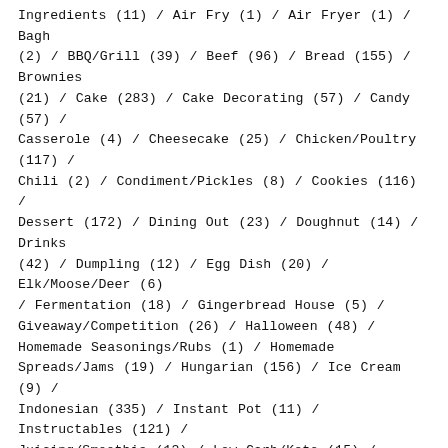Ingredients (11) / Air Fry (1) / Air Fryer (1) / Bagh (2) / BBQ/Grill (39) / Beef (96) / Bread (155) / Brownies (21) / Cake (283) / Cake Decorating (57) / Candy (57) / Casserole (4) / Cheesecake (25) / Chicken/Poultry (117) / Chili (2) / Condiment/Pickles (8) / Cookies (116) / Dessert (172) / Dining Out (23) / Doughnut (14) / Drinks (42) / Dumpling (12) / Egg Dish (20) / Elk/Moose/Deer (6) / Fermentation (18) / Gingerbread House (5) / Giveaway/Competition (26) / Halloween (48) / Homemade Seasonings/Rubs (1) / Homemade Spreads/Jams (19) / Hungarian (156) / Ice Cream (9) / Indonesian (335) / Instant Pot (11) / Instructables (121) / Juicing/Smoothie (13) / Low Carb/Keto (15) / Microwave (16) / Mug Cake (4) / Pancake/Waffle (22) / Party Table Ideas (8) / Pasta/Noodle (41) / Pastry (30) / Pie (46) / Pizza (7) / Porridge (15) / Potatoes (22) / Pressure Cooker (1) / Rabbit (3) / Rice (36) / Salad (13) / Sandwich (2) / Seafood (45) / Slow Cooker/Crockpot (9) / Snacks (67) / Soup & Stew (114) / Sourdough Starter (7) /